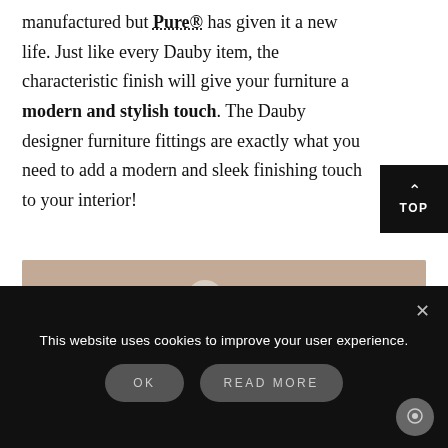manufactured but Pure® has given it a new life. Just like every Dauby item, the characteristic finish will give your furniture a modern and stylish touch. The Dauby designer furniture fittings are exactly what you need to add a modern and sleek finishing touch to your interior!
[Figure (photo): Close-up photo of a round ball-shaped furniture knob/handle on a light taupe surface, with a small shadow beneath it.]
This website uses cookies to improve your user experience.